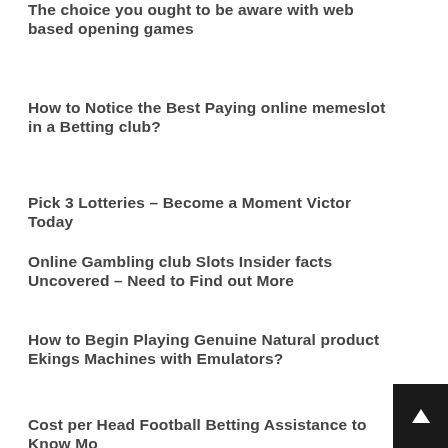The choice you ought to be aware with web based opening games
How to Notice the Best Paying online memeslot in a Betting club?
Pick 3 Lotteries – Become a Moment Victor Today
Online Gambling club Slots Insider facts Uncovered – Need to Find out More
How to Begin Playing Genuine Natural product Ekings Machines with Emulators?
Cost per Head Football Betting Assistance to Know Mo…